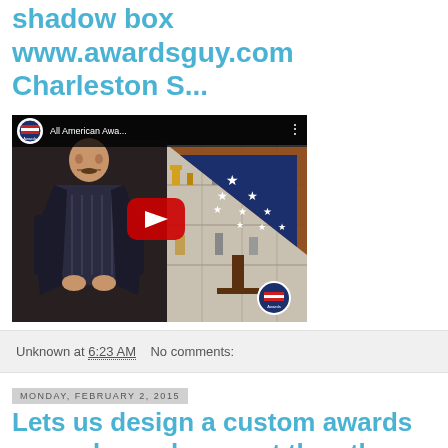shadow box www.awardsguy.com Charleston S...
[Figure (screenshot): YouTube video thumbnail showing a man standing in an awards store with a military flag shadow box display case. Video title reads 'All American Awa...' with the All American Awards logo in the top left corner and a red YouTube play button in the center.]
Unknown at 6:23 AM   No comments:
Monday, February 2, 2015
Lets us design a custom awards around your logo, not the other way